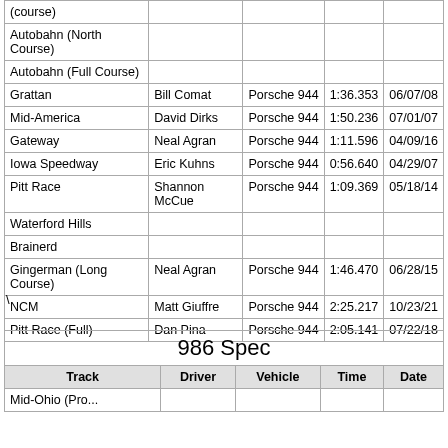| Track | Driver | Vehicle | Time | Date |
| --- | --- | --- | --- | --- |
| (course) |  |  |  |  |
| Autobahn (North Course) |  |  |  |  |
| Autobahn (Full Course) |  |  |  |  |
| Grattan | Bill Comat | Porsche 944 | 1:36.353 | 06/07/08 |
| Mid-America | David Dirks | Porsche 944 | 1:50.236 | 07/01/07 |
| Gateway | Neal Agran | Porsche 944 | 1:11.596 | 04/09/16 |
| Iowa Speedway | Eric Kuhns | Porsche 944 | 0:56.640 | 04/29/07 |
| Pitt Race | Shannon McCue | Porsche 944 | 1:09.369 | 05/18/14 |
| Waterford Hills |  |  |  |  |
| Brainerd |  |  |  |  |
| Gingerman (Long Course) | Neal Agran | Porsche 944 | 1:46.470 | 06/28/15 |
| NCM | Matt Giuffre | Porsche 944 | 2:25.217 | 10/23/21 |
| Pitt Race (Full) | Dan Pina | Porsche 944 | 2:05.141 | 07/22/18 |
\
| Track | Driver | Vehicle | Time | Date |
| --- | --- | --- | --- | --- |
| 986 Spec |  |  |  |  |
| Mid-Ohio (Pro...) |  |  |  |  |